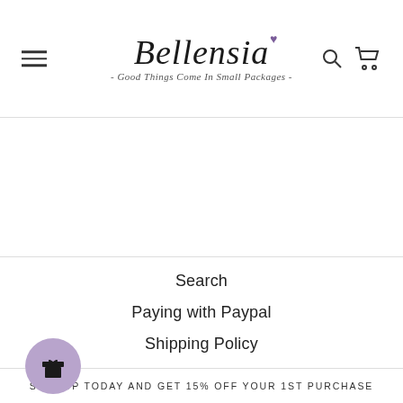[Figure (logo): Bellensia script logo with purple heart and tagline 'Good Things Come In Small Packages']
Search
Paying with Paypal
Shipping Policy
Refund Policy
Privacy Policy
Terms of Service
SIGN UP TODAY AND GET 15% OFF YOUR 1ST PURCHASE